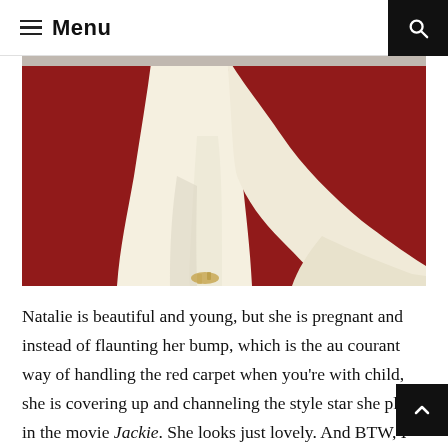Menu
[Figure (photo): Close-up of the lower half of a person wearing a long cream/ivory gown pooling on a red carpet, with a gold strappy sandal visible beneath the hem.]
Natalie is beautiful and young, but she is pregnant and instead of flaunting her bump, which is the au courant way of handling the red carpet when you're with child, she is covering up and channeling the style star she plays in the movie Jackie. She looks just lovely. And BTW, I have a 90% accuracy rate in guessing what flavor baby a woman is having, and I vote Nat's having a girl.